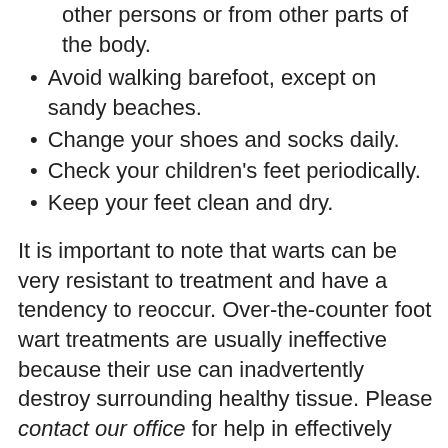other persons or from other parts of the body.
Avoid walking barefoot, except on sandy beaches.
Change your shoes and socks daily.
Check your children's feet periodically.
Keep your feet clean and dry.
It is important to note that warts can be very resistant to treatment and have a tendency to reoccur. Over-the-counter foot wart treatments are usually ineffective because their use can inadvertently destroy surrounding healthy tissue. Please contact our office for help in effectively treating warts. Our practice is expert in recommending the best treatment for each patient,